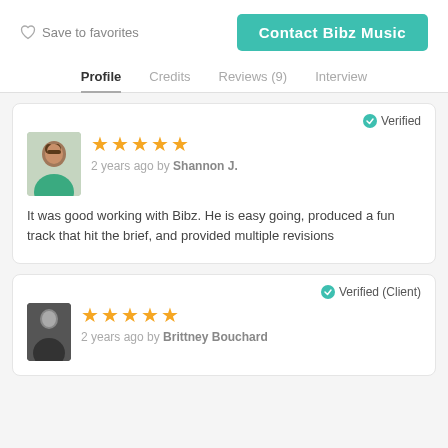♡ Save to favorites
Contact Bibz Music
Profile  Credits  Reviews (9)  Interview
✔ Verified
★★★★★  2 years ago by Shannon J.
It was good working with Bibz. He is easy going, produced a fun track that hit the brief, and provided multiple revisions
✔ Verified (Client)
★★★★★  2 years ago by Brittney Bouchard